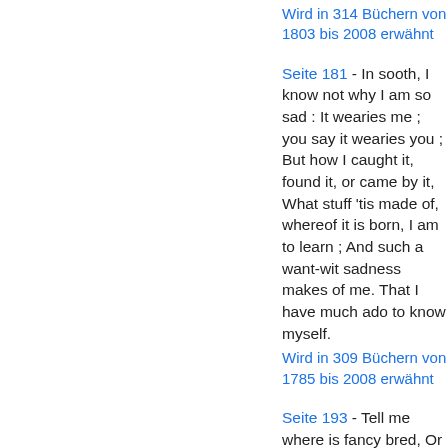Wird in 314 Büchern von 1803 bis 2008 erwähnt
Seite 181 - In sooth, I know not why I am so sad : It wearies me ; you say it wearies you ; But how I caught it, found it, or came by it, What stuff 'tis made of, whereof it is born, I am to learn ; And such a want-wit sadness makes of me. That I have much ado to know myself.
Wird in 309 Büchern von 1785 bis 2008 erwähnt
Seite 193 - Tell me where is fancy bred, Or in the heart or in the head ? How begot, how nourished ? Reply, reply.